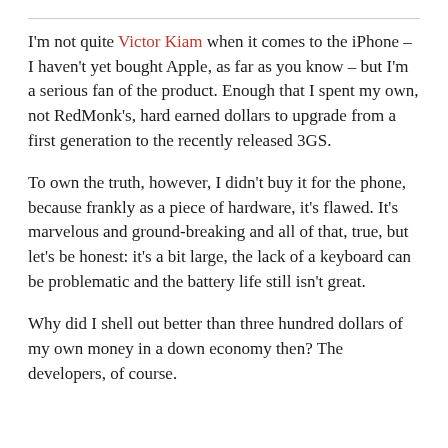I'm not quite Victor Kiam when it comes to the iPhone – I haven't yet bought Apple, as far as you know – but I'm a serious fan of the product. Enough that I spent my own, not RedMonk's, hard earned dollars to upgrade from a first generation to the recently released 3GS.
To own the truth, however, I didn't buy it for the phone, because frankly as a piece of hardware, it's flawed. It's marvelous and ground-breaking and all of that, true, but let's be honest: it's a bit large, the lack of a keyboard can be problematic and the battery life still isn't great.
Why did I shell out better than three hundred dollars of my own money in a down economy then? The developers, of course.